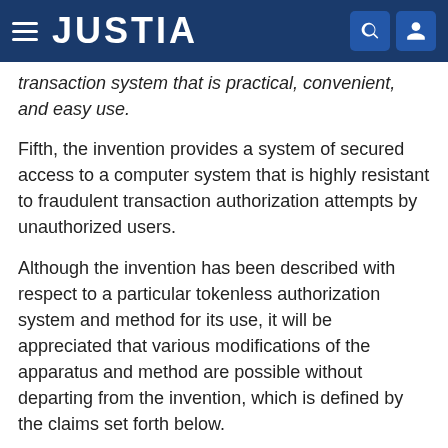JUSTIA
transaction system that is practical, convenient, and easy use.
Fifth, the invention provides a system of secured access to a computer system that is highly resistant to fraudulent transaction authorization attempts by unauthorized users.
Although the invention has been described with respect to a particular tokenless authorization system and method for its use, it will be appreciated that various modifications of the apparatus and method are possible without departing from the invention, which is defined by the claims set forth below.
Claims
1. A method for tokenless authorization of an electronic